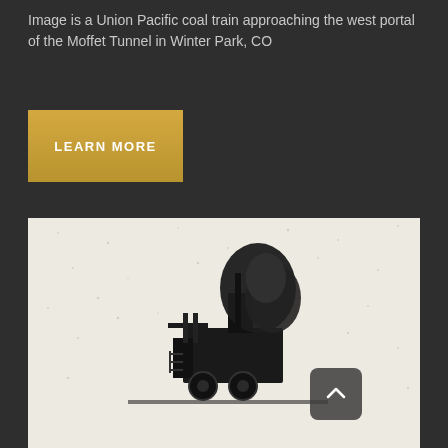Image is a Union Pacific coal train approaching the west portal of the Moffet Tunnel in Winter Park, CO
LEARN MORE
[Figure (photo): Black and white grainy photograph showing what appears to be a train engine or locomotive with smoke billowing, approaching a tunnel portal. The image is high contrast with dark blacks against a light speckled background.]